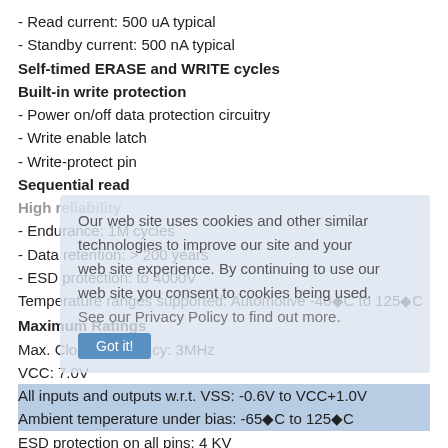- Read current: 500 uA typical
- Standby current: 500 nA typical
Self-timed ERASE and WRITE cycles
Built-in write protection
- Power on/off data protection circuitry
- Write enable latch
- Write-protect pin
Sequential read
High reliability
- Endurance: 1M cycles
- Data retention: > 200 years
- ESD protection: to 4000V
Temperature ranges supported: Automotive -40°C to 125°C
Maximum Ratings
Max. Clock Frequency: 3MHz
VCC: 7.0V
All inputs and outputs w.r.t. VSS: -0.6V to VCC+1.0V
Ambient temperature under bias: -65°C to 125°C
ESD protection on all pins: 4 KV
Manufactured by Microchip